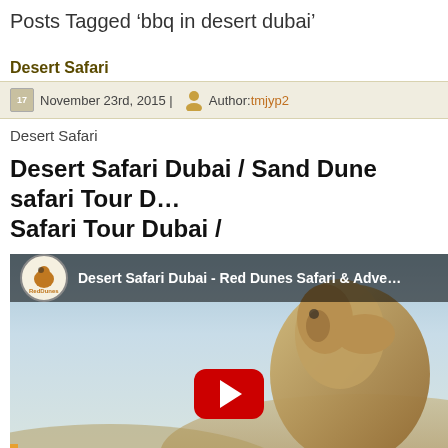Posts Tagged ‘bbq in desert dubai’
Desert Safari
November 23rd, 2015 | Author: tmjyp2
Desert Safari
Desert Safari Dubai / Sand Dune safari Tour Dubai / Safari Tour Dubai /
[Figure (screenshot): YouTube video embed showing Desert Safari Dubai - Red Dunes Safari & Adventure with a camel in the foreground and a YouTube play button overlay]